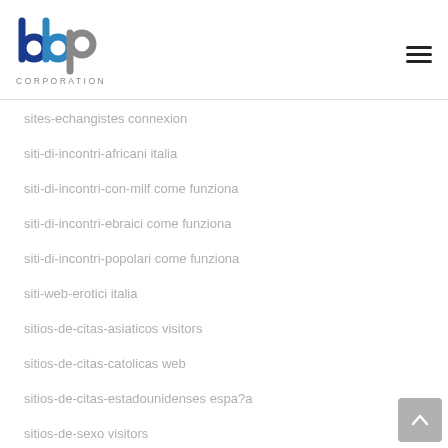[Figure (logo): BBP Corporation logo — stylized blue and grey letters 'bbp' with 'CORPORATION' text below]
sites-echangistes connexion
siti-di-incontri-africani italia
siti-di-incontri-con-milf come funziona
siti-di-incontri-ebraici come funziona
siti-di-incontri-popolari come funziona
siti-web-erotici italia
sitios-de-citas-asiaticos visitors
sitios-de-citas-catolicas web
sitios-de-citas-estadounidenses espa?a
sitios-de-sexo visitors